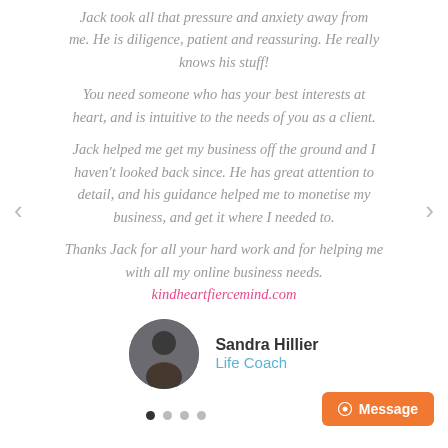Jack took all that pressure and anxiety away from me. He is diligence, patient and reassuring. He really knows his stuff!
You need someone who has your best interests at heart, and is intuitive to the needs of you as a client.
Jack helped me get my business off the ground and I haven't looked back since. He has great attention to detail, and his guidance helped me to monetise my business, and get it where I needed to.
Thanks Jack for all your hard work and for helping me with all my online business needs. kindheartfiercemind.com
Sandra Hillier
Life Coach